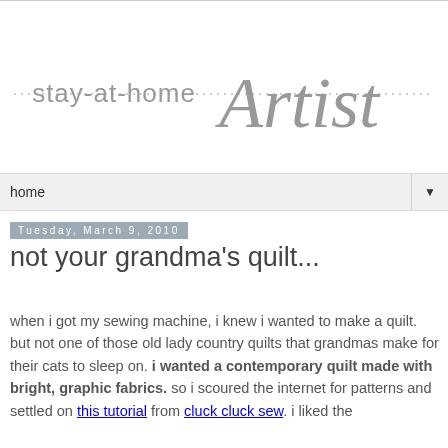stay-at-home Artist
home ▼
Tuesday, March 9, 2010
not your grandma's quilt...
when i got my sewing machine, i knew i wanted to make a quilt. but not one of those old lady country quilts that grandmas make for their cats to sleep on. i wanted a contemporary quilt made with bright, graphic fabrics. so i scoured the internet for patterns and settled on this tutorial from cluck cluck sew. i liked the